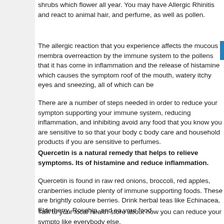shrubs which flower all year. You may have Allergic Rhinitis and react to animal hair, and perfume, as well as pollen.
The allergic reaction that you experience affects the mucous membrane overreaction by the immune system to the pollens that it has come in inflammation and the release of histamine which causes the symptom roof of the mouth, watery itchy eyes and sneezing, all of which can be
There are a number of steps needed in order to reduce your symptom supporting your immune system, reducing inflammation, and inhibiting avoid any food that you know you are sensitive to so that your body c body care and household products if you are sensitive to perfumes.
Quercetin is a natural remedy that helps to relieve symptoms. Its of histamine and reduce inflammation.
Quercetin is found in raw red onions, broccoli, red apples, cranberries include plenty of immune supporting foods. These are brightly coloure berries. Drink herbal teas like Echinacea, Elderberry, Rosehip, and ea your food.
Talk to your local health store about how you can reduce your sympto like everybody else.